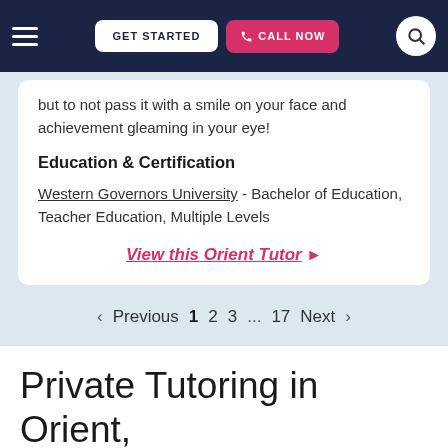GET STARTED | CALL NOW
but to not pass it with a smile on your face and achievement gleaming in your eye!
Education & Certification
Western Governors University - Bachelor of Education, Teacher Education, Multiple Levels
View this Orient Tutor ▶
< Previous 1 2 3 ... 17 Next >
Private Tutoring in Orient,